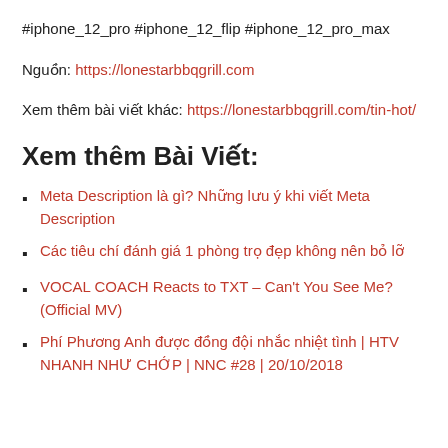#iphone_12_pro #iphone_12_flip #iphone_12_pro_max
Nguồn: https://lonestarbbqgrill.com
Xem thêm bài viết khác: https://lonestarbbqgrill.com/tin-hot/
Xem thêm Bài Viết:
Meta Description là gì? Những lưu ý khi viết Meta Description
Các tiêu chí đánh giá 1 phòng trọ đẹp không nên bỏ lỡ
VOCAL COACH Reacts to TXT – Can't You See Me? (Official MV)
Phí Phương Anh được đồng đội nhắc nhiệt tình | HTV NHANH NHƯ CHỚP | NNC #28 | 20/10/2018